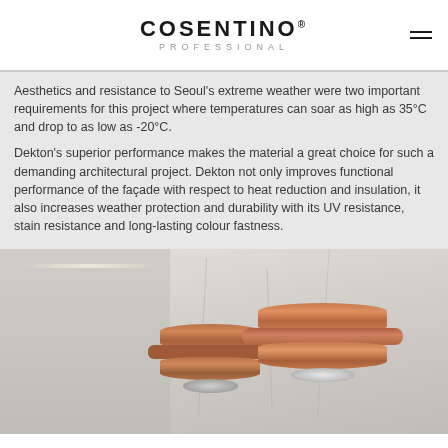COSENTINO PROFESSIONAL
Aesthetics and resistance to Seoul’s extreme weather were two important requirements for this project where temperatures can soar as high as 35°C and drop to as low as -20°C.
Dekton’s superior performance makes the material a great choice for such a demanding architectural project. Dekton not only improves functional performance of the façade with respect to heat reduction and insulation, it also increases weather protection and durability with its UV resistance, stain resistance and long-lasting colour fastness.
[Figure (photo): Interior room with light marble wall panels and decorative copper/rose-gold pendant lights hanging from ceiling, showing architectural application of Dekton material on walls.]